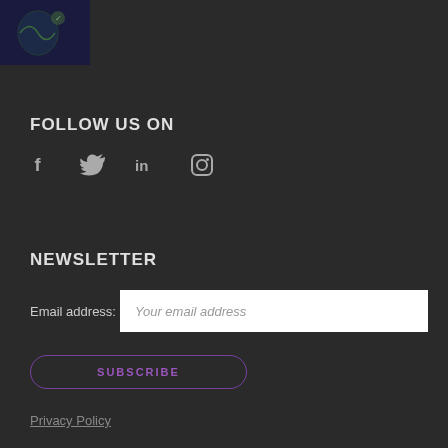[Figure (photo): Small thumbnail image with dark blue/green background showing a globe or map graphic]
FOLLOW US ON
[Figure (infographic): Social media icons: Facebook (f), Twitter (bird), LinkedIn (in), Instagram (camera)]
NEWSLETTER
Email address: Your email address
SUBSCRIBE
Privacy Policy